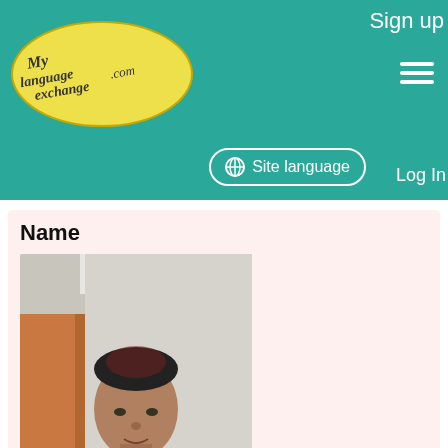Sign up | Site language | Log In
[Figure (logo): MyLanguageExchange.com logo on yellow ellipse]
Name
[Figure (photo): Profile photo of Bruno, a man in a black shirt taking a selfie indoors]
Bruno
Add to Favorites
August 24, 2022
Country(City)
Switzerland
(Bern)
Native Language